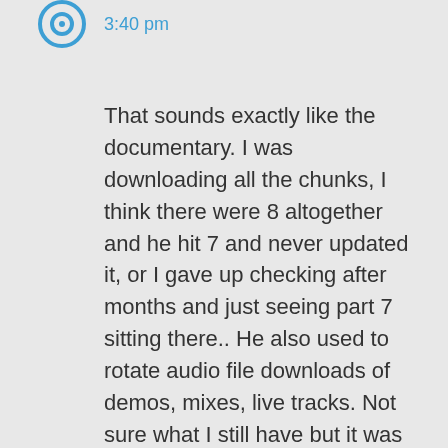[Figure (logo): Circular blue icon/avatar with a target or ring design]
3:40 pm
That sounds exactly like the documentary. I was downloading all the chunks, I think there were 8 altogether and he hit 7 and never updated it, or I gave up checking after months and just seeing part 7 sitting there.. He also used to rotate audio file downloads of demos, mixes, live tracks. Not sure what I still have but it was nice to go there and look around.